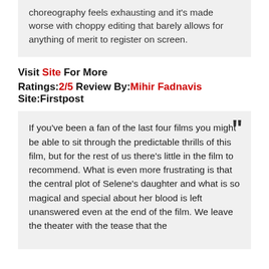choreography feels exhausting and it's made worse with choppy editing that barely allows for anything of merit to register on screen.
Visit Site For More
Ratings:2/5 Review By:Mihir Fadnavis Site:Firstpost
If you've been a fan of the last four films you might be able to sit through the predictable thrills of this film, but for the rest of us there's little in the film to recommend. What is even more frustrating is that the central plot of Selene's daughter and what is so magical and special about her blood is left unanswered even at the end of the film. We leave the theater with the tease that the